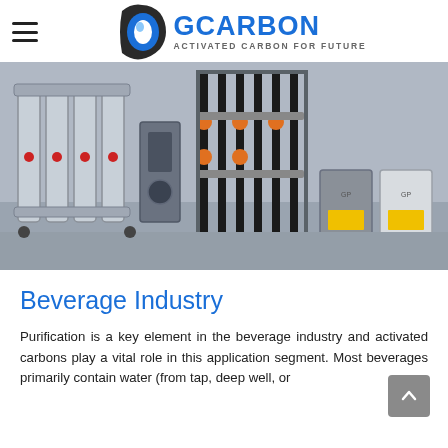GCARBON — ACTIVATED CARBON FOR FUTURE
[Figure (photo): Industrial water purification/filtration equipment — multiple stainless steel filter units with black pipes, orange-handled valves, and two square grey electrical/control boxes on the right side, in a factory setting.]
Beverage Industry
Purification is a key element in the beverage industry and activated carbons play a vital role in this application segment. Most beverages primarily contain water (from tap, deep well, or